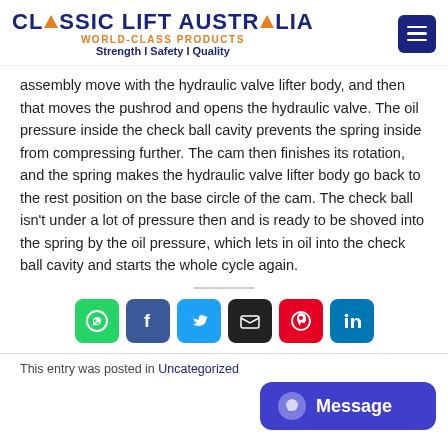CLASSIC LIFT AUSTRALIA | WORLD-CLASS PRODUCTS | Strength I Safety I Quality
assembly move with the hydraulic valve lifter body, and then that moves the pushrod and opens the hydraulic valve. The oil pressure inside the check ball cavity prevents the spring inside from compressing further. The cam then finishes its rotation, and the spring makes the hydraulic valve lifter body go back to the rest position on the base circle of the cam. The check ball isn't under a lot of pressure then and is ready to be shoved into the spring by the oil pressure, which lets in oil into the check ball cavity and starts the whole cycle again.
[Figure (infographic): Social share buttons: WhatsApp (green), Facebook (blue), Twitter (light blue), Email (dark/black), Pinterest (red), LinkedIn (blue)]
This entry was posted in Uncategorized